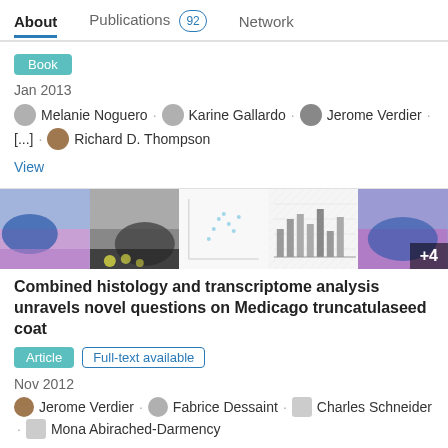About   Publications 92   Network
Book
Jan 2013
Melanie Noguero · Karine Gallardo · Jerome Verdier · [...] · Richard D. Thompson
View
[Figure (photo): Five thumbnail images of histology and microscopy slides and charts]
Combined histology and transcriptome analysis unravels novel questions on Medicago truncatulaseed coat
Article   Full-text available
Nov 2012
Jerome Verdier · Fabrice Dessaint · Charles Schneider · Mona Abirached-Darmency